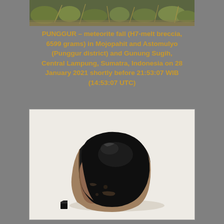[Figure (photo): Top portion of a photograph showing grass and dry vegetation on the ground, cropped at the bottom.]
PUNGGUR – meteorite fall (H7-melt breccia, 6599 grams) in Mojopahit and Astomulyo (Punggur district) and Gunung Sugih, Central Lampung, Sumatra, Indonesia on 28 January 2021 shortly before 21:53:07 WIB (14:53:07 UTC)
[Figure (photo): Photograph of the Punggur meteorite specimen — a large rock with a shiny black fusion crust on the upper portion and brownish-grey chondritic interior exposed on the lower portion. A small black cube is placed in the lower-left corner for scale. The meteorite sits on a white background.]